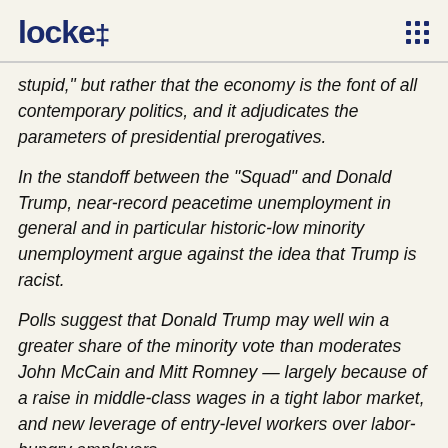locke
stupid," but rather that the economy is the font of all contemporary politics, and it adjudicates the parameters of presidential prerogatives.
In the standoff between the "Squad" and Donald Trump, near-record peacetime unemployment in general and in particular historic-low minority unemployment argue against the idea that Trump is racist.
Polls suggest that Donald Trump may well win a greater share of the minority vote than moderates John McCain and Mitt Romney — largely because of a raise in middle-class wages in a tight labor market, and new leverage of entry-level workers over labor-hungry employers.